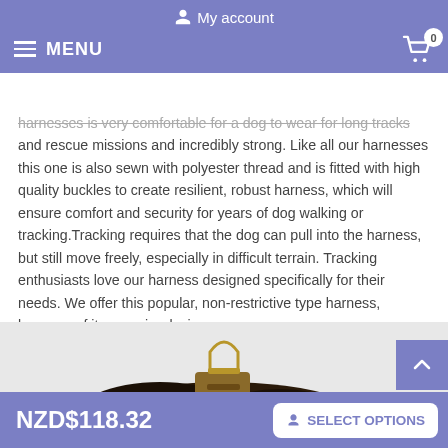My account
MENU
harnesses is very comfortable for a dog to wear for long tracks and rescue missions and incredibly strong. Like all our harnesses this one is also sewn with polyester thread and is fitted with high quality buckles to create resilient, robust harness, which will ensure comfort and security for years of dog walking or tracking.Tracking requires that the dog can pull into the harness, but still move freely, especially in difficult terrain. Tracking enthusiasts love our harness designed specifically for their needs. We offer this popular, non-restrictive type harness, because of its superior design.
[Figure (photo): Close-up photo of a black leather dog harness with a gold D-ring and buckle hardware, partially visible from below.]
NZD$118.32  SELECT OPTIONS